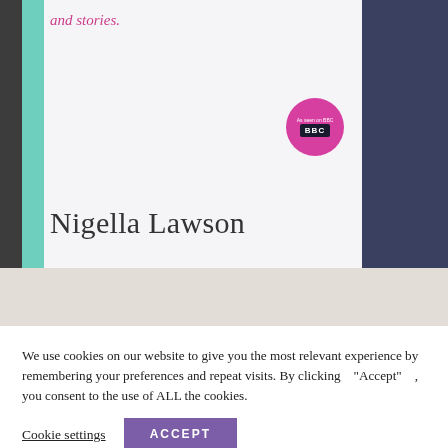[Figure (photo): A photograph of a book by Nigella Lawson. The book has a teal/mint spine and white cover. The top shows pink italic text reading 'and stories.' The cover displays 'Nigella Lawson' in large serif font. A pink circular BBC sticker is visible on the right side. The book rests on a dark textured fabric background. Below the book is a partial view of a lighter beige surface.]
We use cookies on our website to give you the most relevant experience by remembering your preferences and repeat visits. By clicking “Accept”, you consent to the use of ALL the cookies.
Cookie settings
ACCEPT